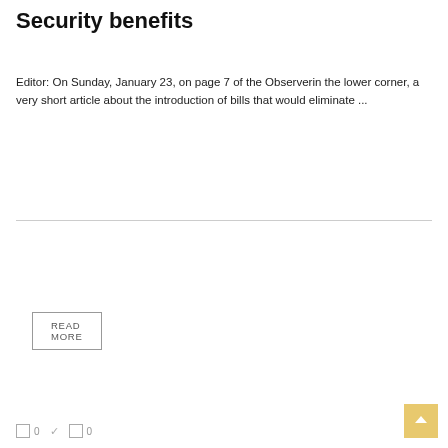Security benefits
Editor: On Sunday, January 23, on page 7 of the Observerin the lower corner, a very short article about the introduction of bills that would eliminate ...
READ MORE
GROSS INCOME